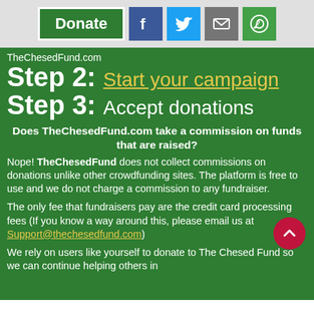[Figure (other): Header bar with Donate button and social media icons for Facebook, Twitter, Email, and WhatsApp]
TheChesedFund.com
Step 2: Start your campaign
Step 3: Accept donations
Does TheChesedFund.com take a commission on funds that are raised?
Nope! TheChesedFund does not collect commissions on donations unlike other crowdfunding sites. The platform is free to use and we do not charge a commission to any fundraiser.
The only fee that fundraisers pay are the credit card processing fees (If you know a way around this, please email us at Support@thechesedfund.com)
We rely on users like yourself to donate to The Chesed Fund so we can continue helping others in